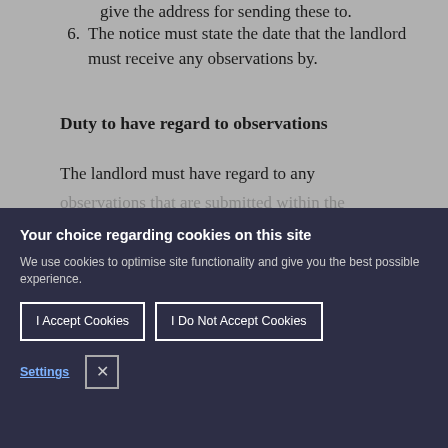6. The notice must state the date that the landlord must receive any observations by.
Duty to have regard to observations
The landlord must have regard to any observations that are submitted within the
Your choice regarding cookies on this site
We use cookies to optimise site functionality and give you the best possible experience.
I Accept Cookies | I Do Not Accept Cookies
Settings
give the address for sending these to.